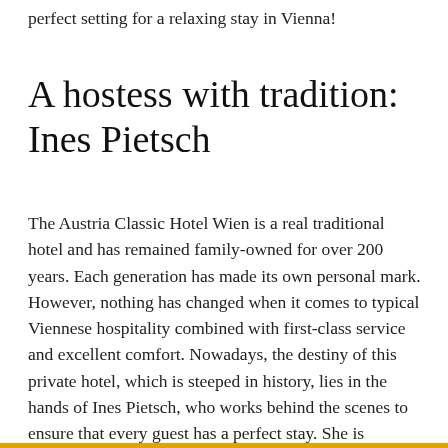perfect setting for a relaxing stay in Vienna!
A hostess with tradition: Ines Pietsch
The Austria Classic Hotel Wien is a real traditional hotel and has remained family-owned for over 200 years. Each generation has made its own personal mark. However, nothing has changed when it comes to typical Viennese hospitality combined with first-class service and excellent comfort. Nowadays, the destiny of this private hotel, which is steeped in history, lies in the hands of Ines Pietsch, who works behind the scenes to ensure that every guest has a perfect stay. She is supported by an experienced team managed by Ingeborg Seitz and her father, Reinhard Blumauer, who handed over the hotel to Ines in 2010.